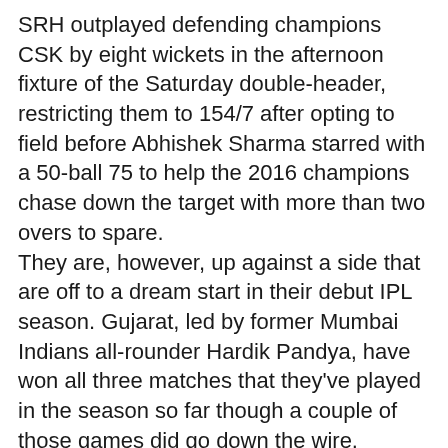SRH outplayed defending champions CSK by eight wickets in the afternoon fixture of the Saturday double-header, restricting them to 154/7 after opting to field before Abhishek Sharma starred with a 50-ball 75 to help the 2016 champions chase down the target with more than two overs to spare.
They are, however, up against a side that are off to a dream start in their debut IPL season. Gujarat, led by former Mumbai Indians all-rounder Hardik Pandya, have won all three matches that they've played in the season so far though a couple of those games did go down the wire.
All-rounder Rahul Tewatia starred in their most